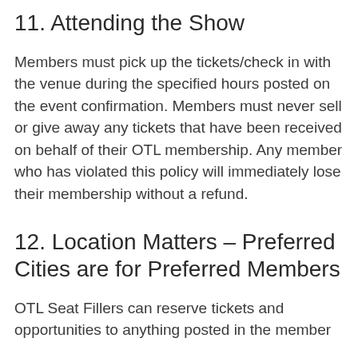11. Attending the Show
Members must pick up the tickets/check in with the venue during the specified hours posted on the event confirmation. Members must never sell or give away any tickets that have been received on behalf of their OTL membership. Any member who has violated this policy will immediately lose their membership without a refund.
12. Location Matters – Preferred Cities are for Preferred Members
OTL Seat Fillers can reserve tickets and opportunities to anything posted in the member